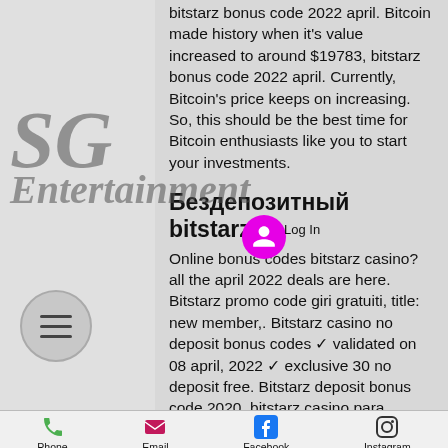bitstarz bonus code 2022 april. Bitcoin made history when it's value increased to around $19783, bitstarz bonus code 2022 april. Currently, Bitcoin's price keeps on increasing. So, this should be the best time for Bitcoin enthusiasts like you to start your investments.
[Figure (logo): SG Entertainment watermark logo in italic script font, semi-transparent gray overlay on sidebar]
Бездепозитный bitstarz
Online bonus codes bitstarz casino? all the april 2022 deals are here. Bitstarz promo code giri gratuiti, title: new member,. Bitstarz casino no deposit bonus codes ✓ validated on 08 april, 2022 ✓ exclusive 30 no deposit free. Bitstarz deposit bonus code 2020, bitstarz casino para yatırma. Bitstarz casino no deposit bonus codes ✓ validated on 08 april, 2022 ✓ exclusive 30 no. Best no deposit bonus casinos and codes 2022 : 1
Phone  Email  Facebook  Instagram